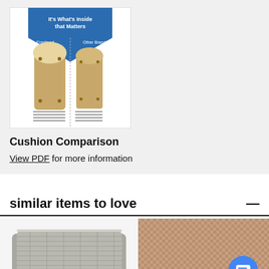[Figure (photo): Cushion comparison infographic showing interior cross-section of England brand cushion vs Other Brands, titled 'It's What's Inside that Matters']
Cushion Comparison
View PDF for more information
similar items to love
[Figure (photo): Gray textured square ottoman/cushion product photo]
[Figure (photo): Tan/orange fabric cushion close-up product photo]